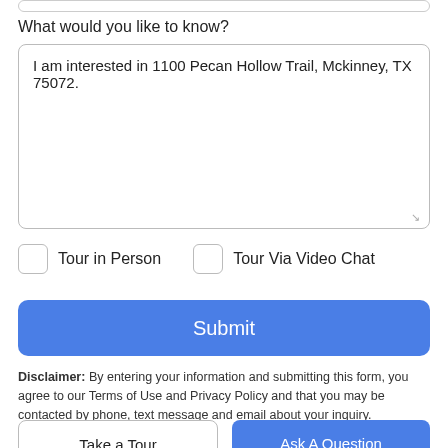What would you like to know?
I am interested in 1100 Pecan Hollow Trail, Mckinney, TX 75072.
Tour in Person
Tour Via Video Chat
Submit
Disclaimer: By entering your information and submitting this form, you agree to our Terms of Use and Privacy Policy and that you may be contacted by phone, text message and email about your inquiry.
Take a Tour
Ask A Question